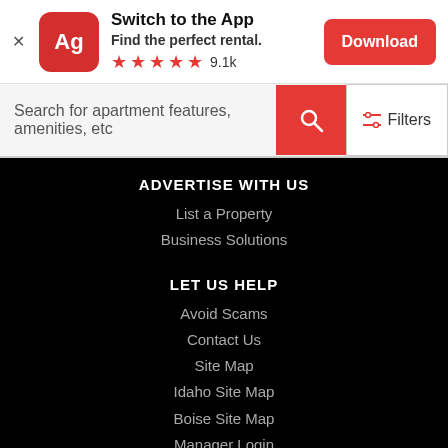[Figure (screenshot): App banner with Ag logo icon, title 'Switch to the App', subtitle 'Find the perfect rental.', 5 red stars and 9.1k rating, and a red Download button]
Search for apartment features, amenities, etc
ADVERTISE WITH US
List a Property
Business Solutions
LET US HELP
Avoid Scams
Contact Us
Site Map
Idaho Site Map
Boise Site Map
Manager Login
Accessibility
COVID-19